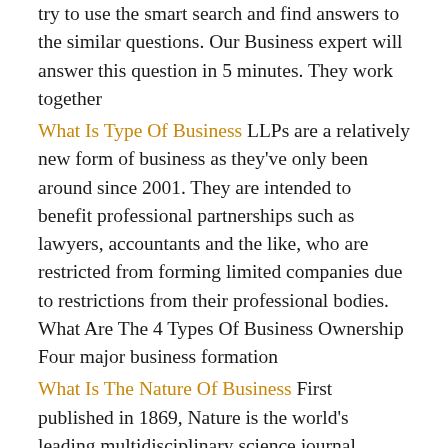try to use the smart search and find answers to the similar questions. Our Business expert will answer this question in 5 minutes. They work together
What Is Type Of Business LLPs are a relatively new form of business as they've only been around since 2001. They are intended to benefit professional partnerships such as lawyers, accountants and the like, who are restricted from forming limited companies due to restrictions from their professional bodies. What Are The 4 Types Of Business Ownership Four major business formation
What Is The Nature Of Business First published in 1869, Nature is the world's leading multidisciplinary science journal. nature publishes the finest peer-reviewed research that drives ground-breaking discovery, and is read by ... Types Of Owner Ship Conversely, insiders often decrease their ownership